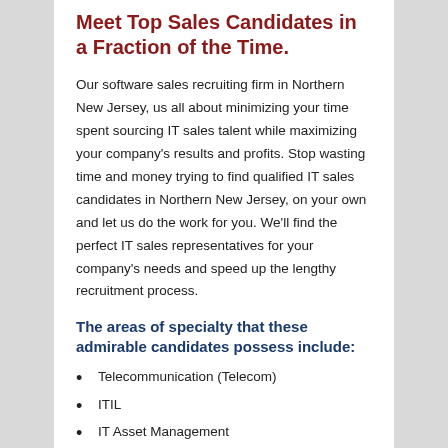Meet Top Sales Candidates in a Fraction of the Time.
Our software sales recruiting firm in Northern New Jersey, us all about minimizing your time spent sourcing IT sales talent while maximizing your company's results and profits. Stop wasting time and money trying to find qualified IT sales candidates in Northern New Jersey, on your own and let us do the work for you. We'll find the perfect IT sales representatives for your company's needs and speed up the lengthy recruitment process.
The areas of specialty that these admirable candidates possess include:
Telecommunication (Telecom)
ITIL
IT Asset Management